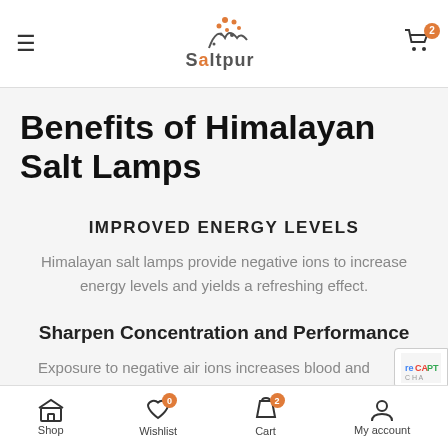Saltpur — navigation header with logo and cart (2 items)
Benefits of Himalayan Salt Lamps
IMPROVED ENERGY LEVELS
Himalayan salt lamps provide negative ions to increase energy levels and yields a refreshing effect.
Sharpen Concentration and Performance
Exposure to negative air ions increases blood and oxygen supplies to the brain, making Himalayan salt lamps great a…
Shop | Wishlist (0) | Cart (2) | My account